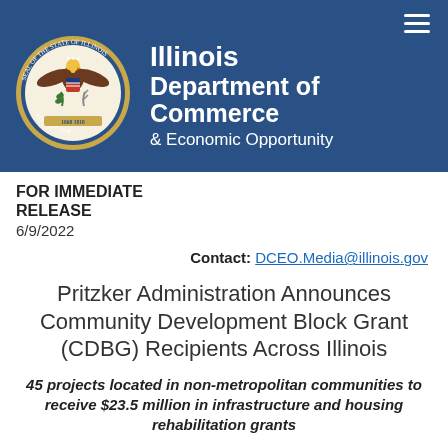[Figure (logo): Illinois Department of Commerce & Economic Opportunity header banner with state seal and department name on blue background]
FOR IMMEDIATE RELEASE
6/9/2022
Contact: DCEO.Media@illinois.gov
Pritzker Administration Announces Community Development Block Grant (CDBG) Recipients Across Illinois
45 projects located in non-metropolitan communities to receive $23.5 million in infrastructure and housing rehabilitation grants